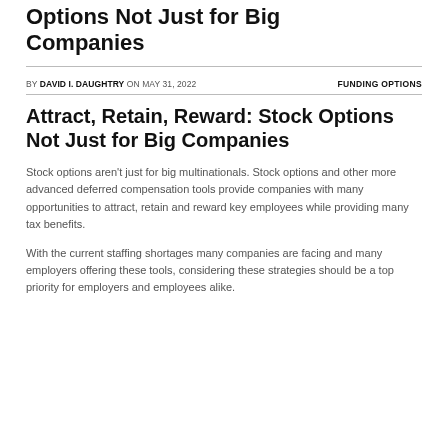Options Not Just for Big Companies
BY DAVID I. DAUGHTRY ON MAY 31, 2022   FUNDING OPTIONS
Attract, Retain, Reward: Stock Options Not Just for Big Companies
Stock options aren't just for big multinationals. Stock options and other more advanced deferred compensation tools provide companies with many opportunities to attract, retain and reward key employees while providing many tax benefits.
With the current staffing shortages many companies are facing and many employers offering these tools, considering these strategies should be a top priority for employers and employees alike.